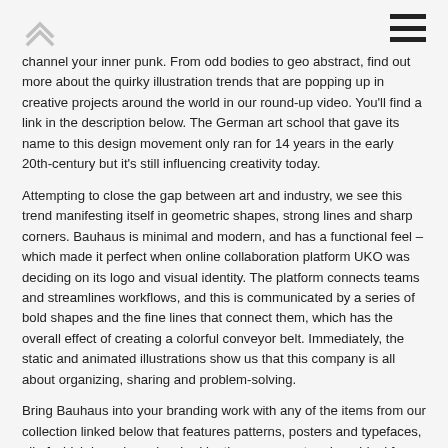channel your inner punk. From odd bodies to geo abstract, find out more about the quirky illustration trends that are popping up in creative projects around the world in our round-up video. You'll find a link in the description below. The German art school that gave its name to this design movement only ran for 14 years in the early 20th-century but it's still influencing creativity today.
Attempting to close the gap between art and industry, we see this trend manifesting itself in geometric shapes, strong lines and sharp corners. Bauhaus is minimal and modern, and has a functional feel – which made it perfect when online collaboration platform UKO was deciding on its logo and visual identity. The platform connects teams and streamlines workflows, and this is communicated by a series of bold shapes and the fine lines that connect them, which has the overall effect of creating a colorful conveyor belt. Immediately, the static and animated illustrations show us that this company is all about organizing, sharing and problem-solving.
Bring Bauhaus into your branding work with any of the items from our collection linked below that features patterns, posters and typefaces, all of which have been inspired by the movement and are ideal for creating a range of creative content.
Similarly, these Bauhaus business card templates featuring asymmetrical tiles are both edgy and eye-catching, making them ideal for personal or professional branding projects. Whatever era you want to engage with, our Retro Design Trends video will take you there.
Watch as we move from 60s-inspired Pop Art and psychedelic design to the simple shapes and freeform typography of the 70s and onto instantly recognisable 80s influences like science fiction and Club Tropicana. It seems the darling of social media feeds and web design is here to stay, as we turn our attention to a distinctly right-on design, but the movement does point to